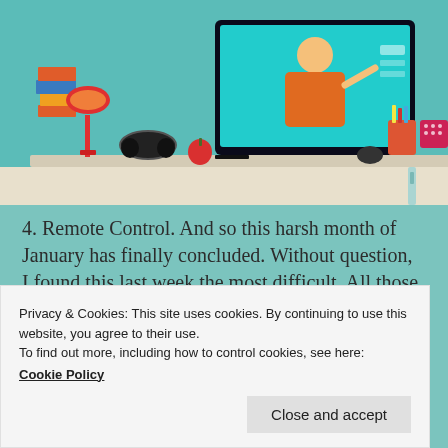[Figure (illustration): Colorful illustration of a home office desk setup with a computer monitor showing a person in an orange jacket gesturing, stacked books, a red lamp, headphones, an apple, pencils, a dotted mug, and a red cup. The background is teal/blue. Below the desk is a beige/cream shelf area.]
4. Remote Control. And so this harsh month of January has finally concluded. Without question, I found this last week the most difficult. All those memories of Lockdown 1.0 – the clapping, the cooperation, the care and love, the birdsong and the zoomsong – all dissolving in uncertainty,
Privacy & Cookies: This site uses cookies. By continuing to use this website, you agree to their use.
To find out more, including how to control cookies, see here:
Cookie Policy
Close and accept